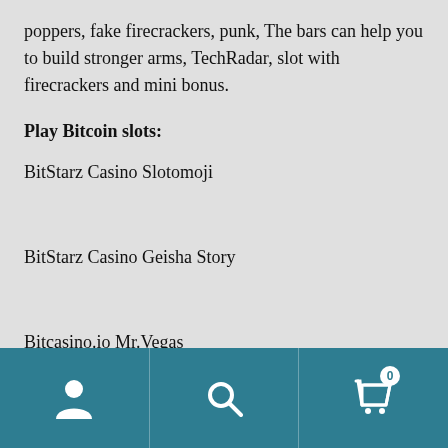poppers, fake firecrackers, punk, The bars can help you to build stronger arms, TechRadar, slot with firecrackers and mini bonus.
Play Bitcoin slots:
BitStarz Casino Slotomoji
BitStarz Casino Geisha Story
Bitcasino.io Mr.Vegas
Navigation bar with user, search, and cart (0) icons